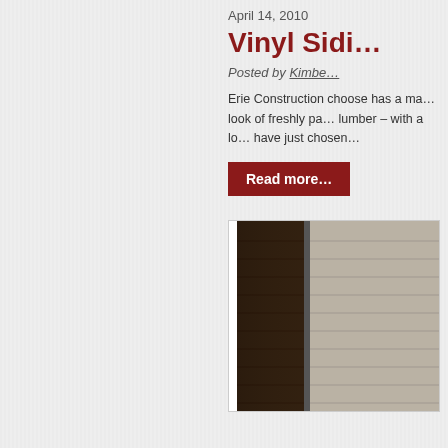April 14, 2010
Vinyl Sidi…
Posted by Kimbe…
Erie Construction choose has a ma… look of freshly pa… lumber – with a lo… have just chosen…
Read more…
[Figure (photo): Photo of vinyl siding comparison showing dark brown siding panel on the left and light gray/beige siding on the right]